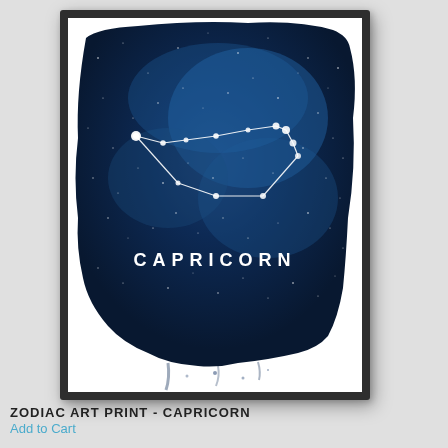[Figure (illustration): A framed art print showing a dark navy blue watercolor night sky background with white star constellation lines and dots forming the Capricorn constellation. The word CAPRICORN appears in white bold spaced letters below the constellation. The print is displayed in a dark gray/black frame against a light gray background.]
ZODIAC ART PRINT - CAPRICORN
Add to Cart